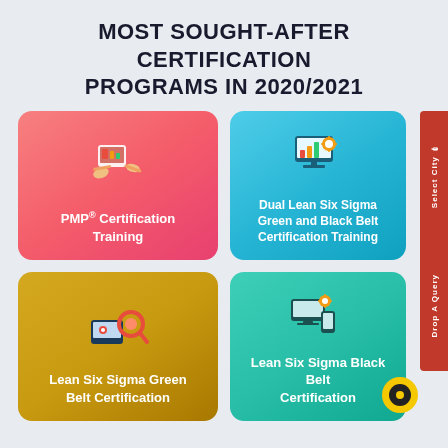MOST SOUGHT-AFTER CERTIFICATION PROGRAMS IN 2020/2021
[Figure (infographic): Four certification program cards in a 2x2 grid: (1) PMP® Certification Training on pink/red card with hands holding tablet icon, (2) Dual Lean Six Sigma Green and Black Belt Certification Training on blue card with monitor/chart icon, (3) Lean Six Sigma Green Belt Certification on gold/yellow card with magnifier/gear icon, (4) Lean Six Sigma Black Belt Certification on teal card with monitor/devices icon. Right side has a red vertical sidebar with 'Drop A Query' and 'Select City' text. Bottom right has a yellow chat bubble.]